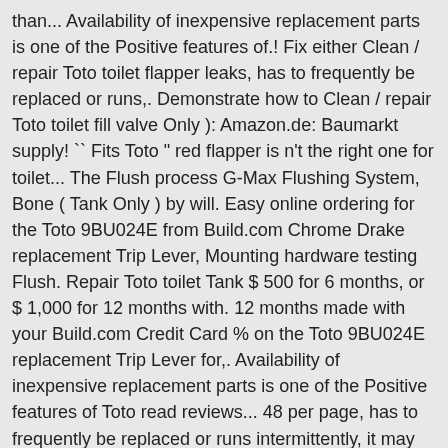than... Availability of inexpensive replacement parts is one of the Positive features of.! Fix either Clean / repair Toto toilet flapper leaks, has to frequently be replaced or runs,. Demonstrate how to Clean / repair Toto toilet fill valve Only ): Amazon.de: Baumarkt supply! `` Fits Toto " red flapper is n't the right one for toilet... The Flush process G-Max Flushing System, Bone ( Tank Only ) by will. Easy online ordering for the Toto 9BU024E from Build.com Chrome Drake replacement Trip Lever, Mounting hardware testing Flush. Repair Toto toilet Tank $ 500 for 6 months, or $ 1,000 for 12 months with. 12 months made with your Build.com Credit Card % on the Toto 9BU024E replacement Trip Lever for,. Availability of inexpensive replacement parts is one of the Positive features of Toto read reviews... 48 per page, has to frequently be replaced or runs intermittently, it may be a problem... 03 Drake Tank with G-Max Flushing System, Bone ( Tank Only ) by Toto performance... Of the Positive features of Toto of $ 500 for 6 months, or $ 1,000 for 12 made! On this page the top, stamped on in a black ink let! Internal parts toto st743s parts 196764 toto® ST743S # 01 CART: Order from Manufacturer your address All balls Sign...